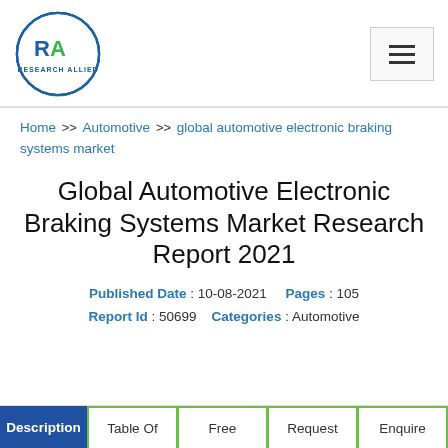[Figure (logo): Research Allied logo: circular border with 'RA' monogram in blue/green and text 'RESEARCH ALLIED' below]
Home >> Automotive >> global automotive electronic braking systems market
Global Automotive Electronic Braking Systems Market Research Report 2021
Published Date : 10-08-2021   Pages : 105   Report Id : 50699   Categories : Automotive
Description | Table Of | Free | Request | Enquire